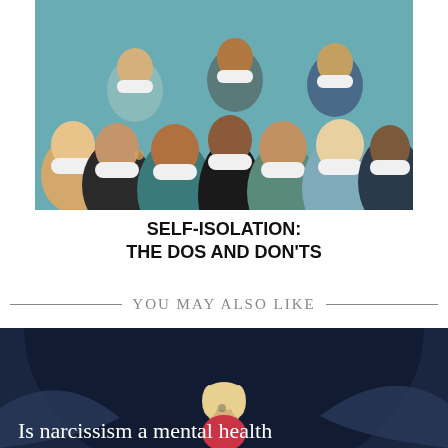[Figure (illustration): Illustration of a crowd of diverse people wearing face masks, set against a teal/blue background]
SELF-ISOLATION:
THE DOS AND DON'TS
YOU MAY ALSO LIKE
[Figure (illustration): Illustration of a woman with blonde hair sitting curled up, surrounded by large dark hands/shadows on a dark navy background]
Is narcissism a mental health problem? And can you tell...